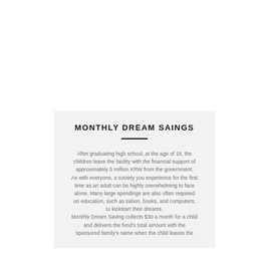MONTHLY DREAM SAINGS
After graduating high school, at the age of 18, the children leave the facility with the financial support of approximately 5 million KRW from the government.
As with everyone, a society you experience for the first time as an adult can be highly overwhelming to face alone. Many large spendings are also often required on education, such as tuition, books, and computers, to kickstart their dreams.
Monthly Dream Saving collects $30 a month for a child and delivers the fund's total amount with the sponsored family's name when the child leaves the